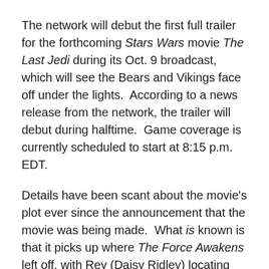The network will debut the first full trailer for the forthcoming Stars Wars movie The Last Jedi during its Oct. 9 broadcast, which will see the Bears and Vikings face off under the lights.  According to a news release from the network, the trailer will debut during halftime.  Game coverage is currently scheduled to start at 8:15 p.m. EDT.
Details have been scant about the movie's plot ever since the announcement that the movie was being made.  What is known is that it picks up where The Force Awakens left off, with Rey (Daisy Ridley) locating Luke Skywalker.  The trailer that has currently been made available hints that despite Luke's reluctance, she convinces him to train her while also learning some deeply held secrets about the force and the Jedi.
Mark Hamill returns to reprise his role as Luke Skywalker...